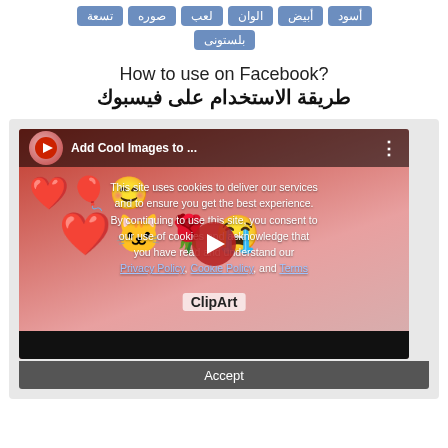تسعة صوره لعب الوان أبيض أسود
بلستونى
How to use on Facebook?
طريقة الاستخدام على فيسبوك
[Figure (screenshot): YouTube video thumbnail showing 'Add Cool Images to ...' with emoji clip art (heart, Hello Kitty, rose, crying owl) on a red/pink background, with a cookie consent overlay and Accept button at bottom]